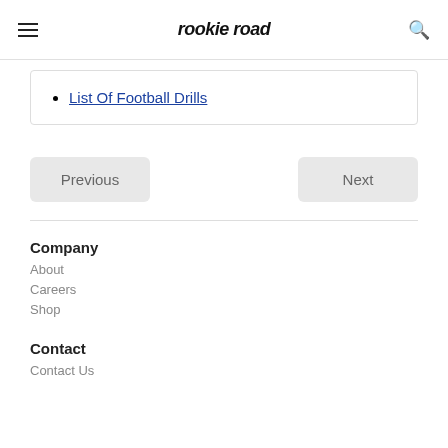rookie road
List Of Football Drills
Previous
Next
Company
About
Careers
Shop
Contact
Contact Us